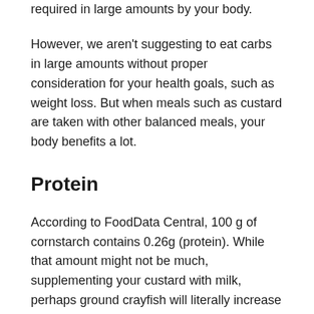required in large amounts by your body.
However, we aren't suggesting to eat carbs in large amounts without proper consideration for your health goals, such as weight loss. But when meals such as custard are taken with other balanced meals, your body benefits a lot.
Protein
According to FoodData Central, 100 g of cornstarch contains 0.26g (protein). While that amount might not be much, supplementing your custard with milk, perhaps ground crayfish will literally increase the protein content of the dish.
Also, food manufacturers often fortify custard preparation with more nutrients in which protein might be one.
When custard is paired with those foods earlier mentioned